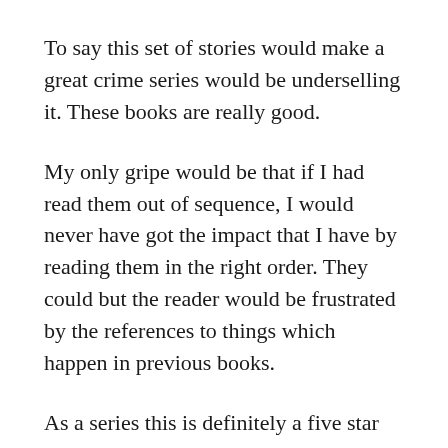To say this set of stories would make a great crime series would be underselling it. These books are really good.
My only gripe would be that if I had read them out of sequence, I would never have got the impact that I have by reading them in the right order. They could but the reader would be frustrated by the references to things which happen in previous books.
As a series this is definitely a five star plus, but because the continuing story is so important each individual book would be a four star read, even though the main central story for each